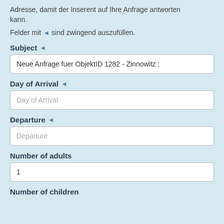Adresse, damit der Inserent auf Ihre Anfrage antworten kann.
Felder mit ◄ sind zwingend auszufüllen.
Subject ◄
Neue Anfrage fuer ObjektID 1282 - Zinnowitz :
Day of Arrival ◄
Day of Arrival
Departure ◄
Departure
Number of adults
1
Number of children